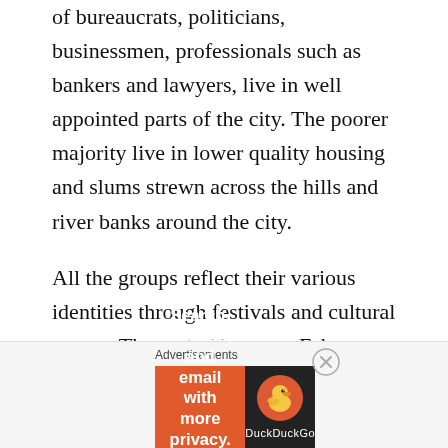of bureaucrats, politicians, businessmen, professionals such as bankers and lawyers, live in well appointed parts of the city. The poorer majority live in lower quality housing and slums strewn across the hills and river banks around the city.
All the groups reflect their various identities through festivals and cultural events. The period between February and April features several traditional festivals related to fertility rites kicking off the planting season, such as the Agbo masquerade festival by Oworo people, the Oro night masquerade of the Yoruba Okun clan as well as fishing festivals that
Advertisements
[Figure (other): DuckDuckGo advertisement banner with orange left side reading 'Search, browse, and email with more privacy. All in One Free App' and dark right side with DuckDuckGo logo and duck icon.]